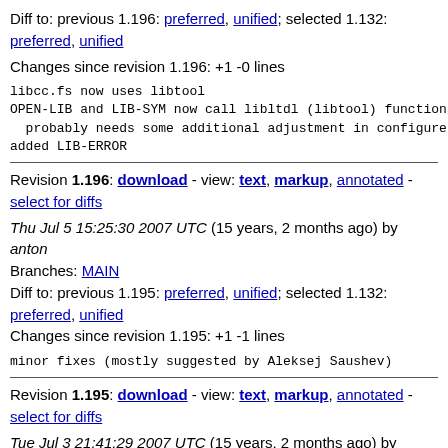Diff to: previous 1.196: preferred, unified; selected 1.132: preferred, unified
Changes since revision 1.196: +1 -0 lines
libcc.fs now uses libtool
OPEN-LIB and LIB-SYM now call libltdl (libtool) functions
  probably needs some additional adjustment in configure
added LIB-ERROR
Revision 1.196: download - view: text, markup, annotated - select for diffs
Thu Jul 5 15:25:30 2007 UTC (15 years, 2 months ago) by anton
Branches: MAIN
Diff to: previous 1.195: preferred, unified; selected 1.132: preferred, unified
Changes since revision 1.195: +1 -1 lines
minor fixes (mostly suggested by Aleksej Saushev)
Revision 1.195: download - view: text, markup, annotated - select for diffs
Tue Jul 3 21:41:29 2007 UTC (15 years, 2 months ago) by anton
Branches: MAIN
Diff to: previous 1.194: preferred, unified; selected 1.132: preferred, unified
Changes since revision 1.194: +11 -0 lines